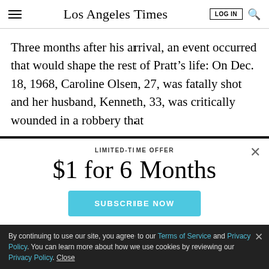Los Angeles Times
Three months after his arrival, an event occurred that would shape the rest of Pratt’s life: On Dec. 18, 1968, Caroline Olsen, 27, was fatally shot and her husband, Kenneth, 33, was critically wounded in a robbery that
LIMITED-TIME OFFER
$1 for 6 Months
SUBSCRIBE NOW
By continuing to use our site, you agree to our Terms of Service and Privacy Policy. You can learn more about how we use cookies by reviewing our Privacy Policy. Close